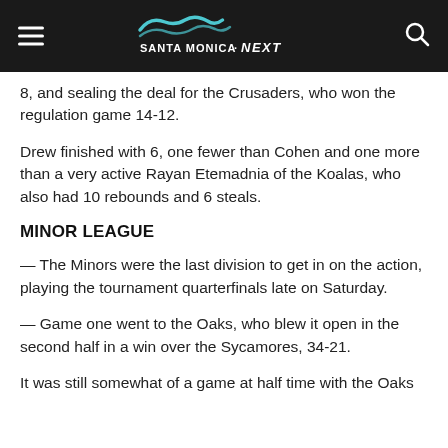Santa Monica Next
8, and sealing the deal for the Crusaders, who won the regulation game 14-12.
Drew finished with 6, one fewer than Cohen and one more than a very active Rayan Etemadnia of the Koalas, who also had 10 rebounds and 6 steals.
MINOR LEAGUE
— The Minors were the last division to get in on the action, playing the tournament quarterfinals late on Saturday.
— Game one went to the Oaks, who blew it open in the second half in a win over the Sycamores, 34-21.
It was still somewhat of a game at half time with the Oaks